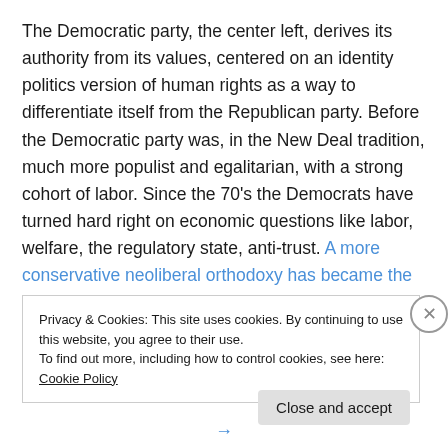The Democratic party, the center left, derives its authority from its values, centered on an identity politics version of human rights as a way to differentiate itself from the Republican party. Before the Democratic party was, in the New Deal tradition, much more populist and egalitarian, with a strong cohort of labor. Since the 70's the Democrats have turned hard right on economic questions like labor, welfare, the regulatory state, anti-trust. A more conservative neoliberal orthodoxy has became the ideology.
Privacy & Cookies: This site uses cookies. By continuing to use this website, you agree to their use. To find out more, including how to control cookies, see here: Cookie Policy
Close and accept